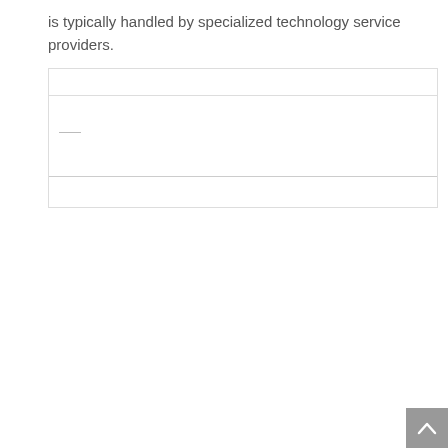is typically handled by specialized technology service providers.
[Figure (other): A bordered box with rows and a horizontal line element inside, resembling a form or UI widget placeholder.]
[Figure (other): A scroll-to-top button with an upward chevron arrow, gray background, positioned at the bottom right.]